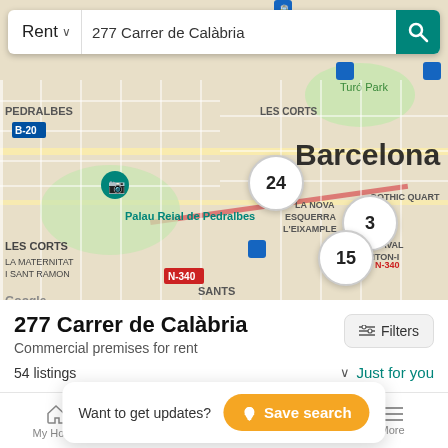[Figure (screenshot): Google Maps screenshot showing Barcelona area including Les Corts, Palau Reial de Pedralbes, La Nova Esquerra de l'Eixample, Sants, El Raval, Gothic Quarter, with map cluster markers showing 24, 3, and 15 listings]
Rent ∨  277 Carrer de Calàbria
277 Carrer de Calàbria
Commercial premises for rent
54 listings
Just for you
Want to get updates?  Save search
6 days ago
My Home   Search   Favorites   More